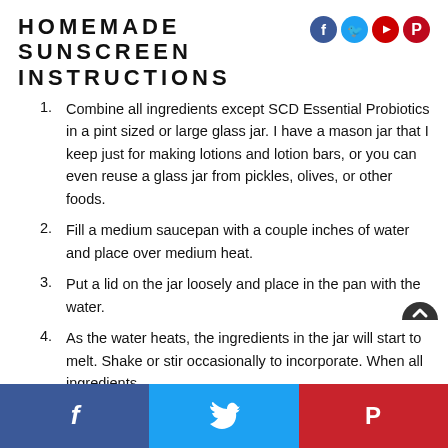HOMEMADE SUNSCREEN INSTRUCTIONS
Combine all ingredients except SCD Essential Probiotics in a pint sized or large glass jar. I have a mason jar that I keep just for making lotions and lotion bars, or you can even reuse a glass jar from pickles, olives, or other foods.
Fill a medium saucepan with a couple inches of water and place over medium heat.
Put a lid on the jar loosely and place in the pan with the water.
As the water heats, the ingredients in the jar will start to melt. Shake or stir occasionally to incorporate. When all ingredients
Facebook  Twitter  Pinterest